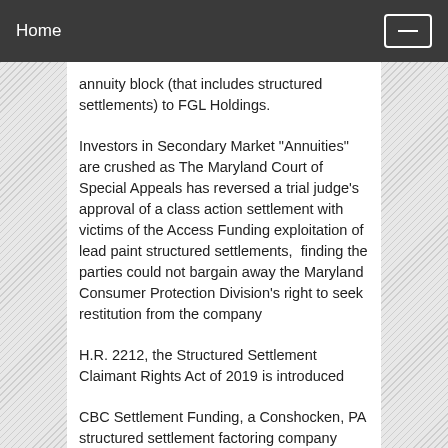Home
annuity block (that includes structured settlements) to FGL Holdings.
Investors in Secondary Market "Annuities" are crushed as The Maryland Court of Special Appeals has reversed a trial judge's approval of a class action settlement with victims of the Access Funding exploitation of lead paint structured settlements,  finding the parties could not bargain away the Maryland Consumer Protection Division's right to seek restitution from the company
H.R. 2212, the Structured Settlement Claimant Rights Act of 2019 is introduced
CBC Settlement Funding, a Conshocken, PA structured settlement factoring company associated with Sutton Park Capital CEO Steve Rocks, is relentless in outrageous pursuit of deal